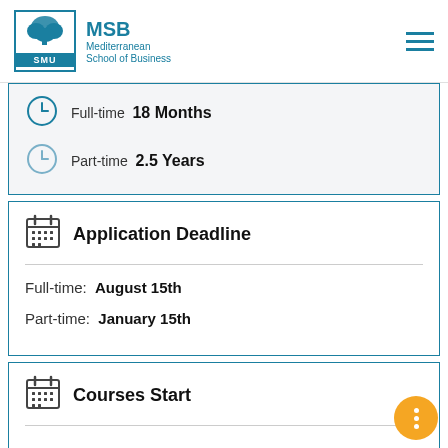[Figure (logo): MSB Mediterranean School of Business logo with tree icon and SMU branding]
Full-time  18 Months
Part-time  2.5 Years
Application Deadline
Full-time:  August 15th
Part-time:  January 15th
Courses Start